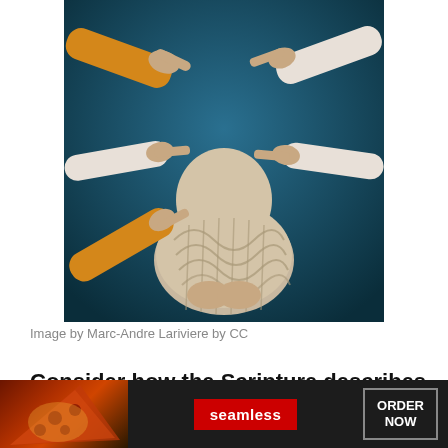[Figure (photo): Person in a patterned hoodie hunching over with multiple hands pointing at them from different directions against a dark teal background]
Image by Marc-Andre Lariviere by CC
Consider how the Scripture describes
ation. Biblical writers announce that
[Figure (other): Seamless food delivery advertisement banner with pizza image, red Seamless logo badge, and ORDER NOW button]